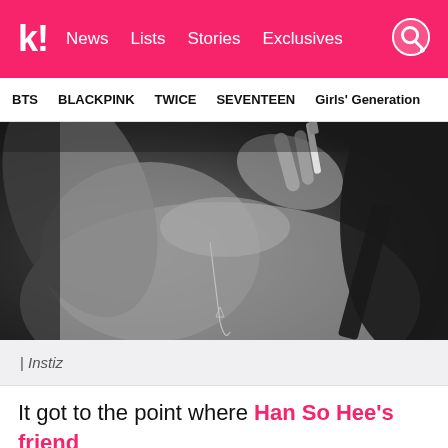k! | News  Lists  Stories  Exclusives
BTS  BLACKPINK  TWICE  SEVENTEEN  Girls' Generation
[Figure (photo): Black and white close-up photo of a person holding a cigarette, wearing a necklace.]
| Instiz
It got to the point where Han So Hee's friend